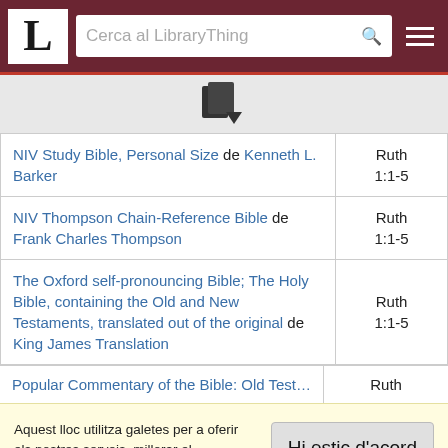LibraryThing - Cerca al LibraryThing
[Figure (other): Book/document icon with dropdown arrow]
| Title | Ref |
| --- | --- |
| NIV Study Bible, Personal Size de Kenneth L. Barker | Ruth 1:1-5 |
| NIV Thompson Chain-Reference Bible de Frank Charles Thompson | Ruth 1:1-5 |
| The Oxford self-pronouncing Bible; The Holy Bible, containing the Old and New Testaments, translated out of the original de King James Translation | Ruth 1:1-5 |
| Popular Commentary of the Bible: Old Testament | Ruth |
Aquest lloc utilitza galetes per a oferir els nostres serveis, millorar el desenvolupament, per a anàlisis i (si no has iniciat la sessió) per a publicitat. Utilitzant LibraryThing acceptes que has llegit i entès els nostres Termes de servei i politica de privacitat. L'ús que facis del lloc i dels seus serveis està subjecte a aquestes politiques i termes.